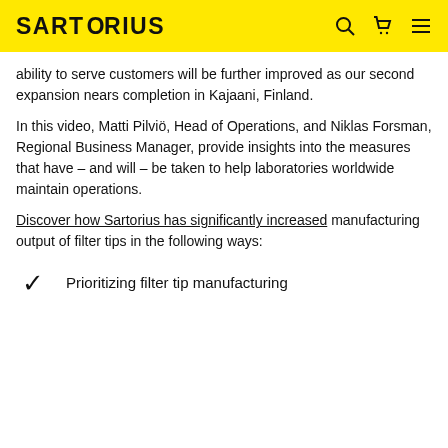SARTORIUS
ability to serve customers will be further improved as our second expansion nears completion in Kajaani, Finland.
In this video, Matti Pilviö, Head of Operations, and Niklas Forsman, Regional Business Manager, provide insights into the measures that have – and will – be taken to help laboratories worldwide maintain operations.
Discover how Sartorius has significantly increased manufacturing output of filter tips in the following ways:
Prioritizing filter tip manufacturing